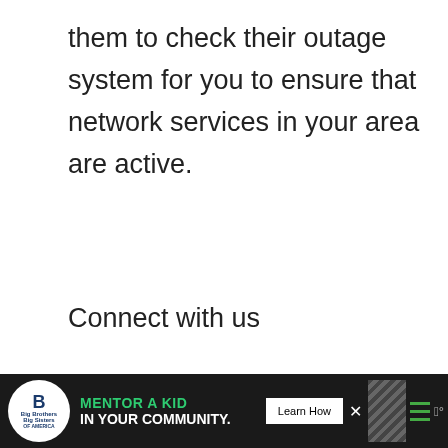them to check their outage system for you to ensure that network services in your area are active.
Connect with us
We are always open to your problems, questions and suggestions, so feel free to contact us by filling up this form. This is a free service we offer and we won't charge you a penny for it. But please note that we receive hundreds of emails every day and...
[Figure (other): Advertisement banner at the bottom of the page for Big Brothers Big Sisters 'Mentor a Kid in Your Community' with a Learn How button and close button.]